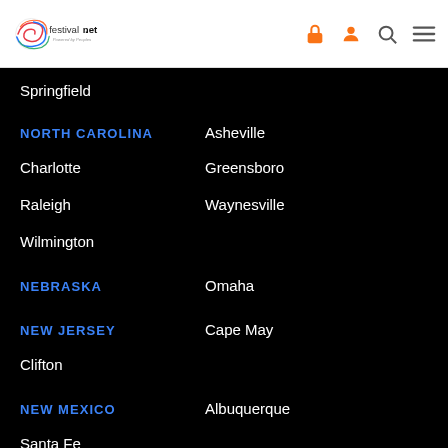[Figure (logo): FestivalNet logo - Powered by Peoples, with colorful circular swirl icon]
Springfield
NORTH CAROLINA
Asheville
Charlotte
Greensboro
Raleigh
Waynesville
Wilmington
NEBRASKA
Omaha
NEW JERSEY
Cape May
Clifton
NEW MEXICO
Albuquerque
Santa Fe